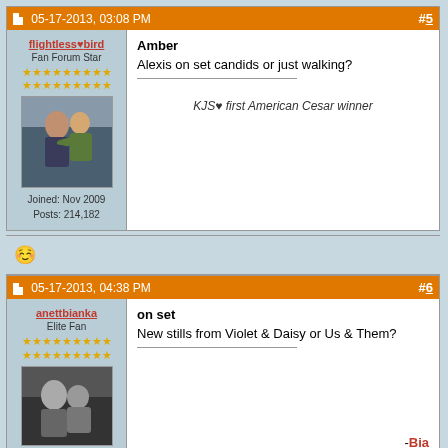05-17-2013, 03:08 PM | #5
flightless♥bird
Fan Forum Star
Joined: Nov 2009
Posts: 214,182
Amber

Alexis on set candids or just walking?

KJS♥ first American Cesar winner
[Figure (photo): Avatar photo showing two people embracing outdoors on steps]
05-17-2013, 04:38 PM | #6
anettbianka
Elite Fan
on set

New stills from Violet & Daisy or Us & Them?

-Bia
[Figure (photo): Black and white avatar photo of two people close together]